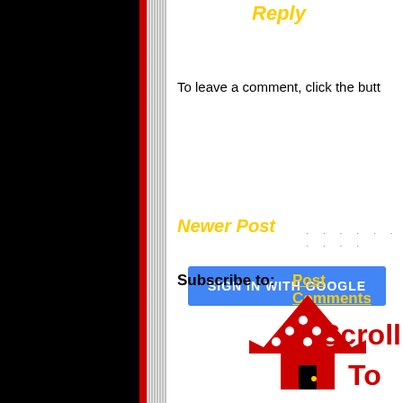Reply
To leave a comment, click the butt...
[Figure (other): Blue 'SIGN IN WITH GOOGLE' button]
Newer Post
Subscribe to: Post Comments (Ato...
[Figure (illustration): Scroll To Top logo with red polka-dot house and bold text 'Scroll To']